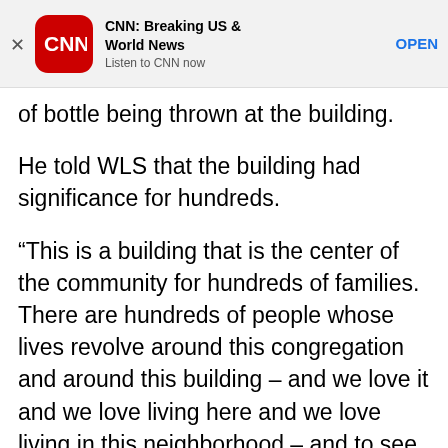[Figure (screenshot): CNN app advertisement banner with close button (X), CNN red rounded square logo, app title 'CNN: Breaking US & World News', subtitle 'Listen to CNN now', and 'OPEN' button in blue]
of bottle being thrown at the building.
He told WLS that the building had significance for hundreds.
“This is a building that is the center of the community for hundreds of families. There are hundreds of people whose lives revolve around this congregation and around this building – and we love it and we love living here and we love living in this neighborhood – and to see somebody act in such a violent hateful way against a building that we all love that means so much to so many people was very hard to watch,” he said.